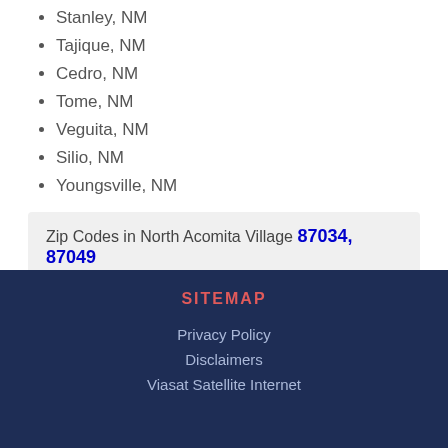Stanley, NM
Tajique, NM
Cedro, NM
Tome, NM
Veguita, NM
Silio, NM
Youngsville, NM
Zip Codes in North Acomita Village 87034, 87049
SITEMAP
Privacy Policy
Disclaimers
Viasat Satellite Internet